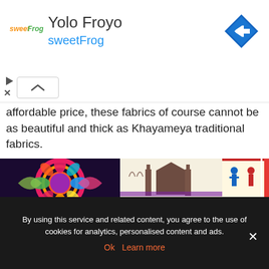[Figure (screenshot): Advertisement banner for Yolo Froyo / sweetFrog frozen yogurt with logo, title text, blue navigation icon, and UI controls]
affordable price, these fabrics of course cannot be as beautiful and thick as Khayameya traditional fabrics.
[Figure (photo): Colorful traditional Khayameya Egyptian applique fabric textiles displayed for sale, showing geometric patterns, architectural scenes, and figurative designs in vibrant colors]
By using this service and related content, you agree to the use of cookies for analytics, personalised content and ads.